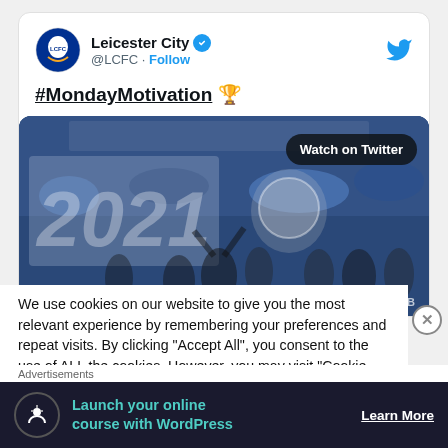[Figure (screenshot): Tweet card from Leicester City (@LCFC) with verified badge and Follow link, showing #MondayMotivation text with trophy emoji, and a media embed showing players celebrating winning 2021 trophy with 'Watch on Twitter' button overlay. Below is a cookie consent notice and an advertisement banner for launching online courses with WordPress.]